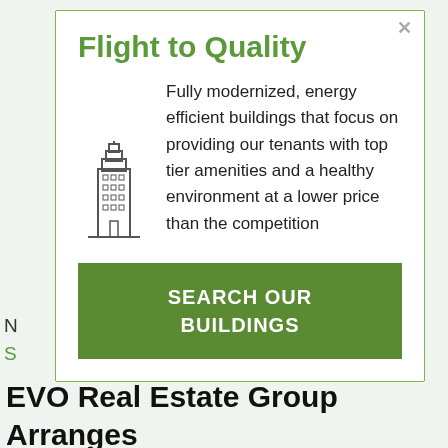Flight to Quality
Fully modernized, energy efficient buildings that focus on providing our tenants with top tier amenities and a healthy environment at a lower price than the competition
[Figure (illustration): Line drawing icon of a tall skyscraper / city building]
SEARCH OUR BUILDINGS
EVO Real Estate Group Arranges 14,000-Square-Foot Lease At